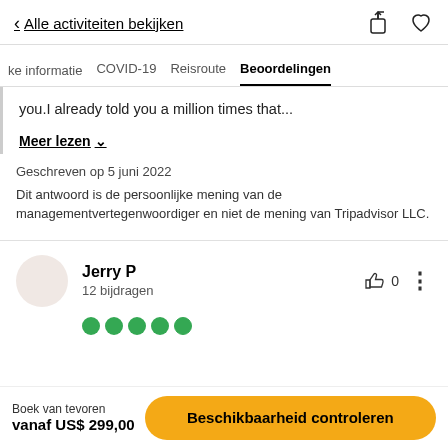< Alle activiteiten bekijken
ke informatie   COVID-19   Reisroute   Beoordelingen
you.I already told you a million times that...
Meer lezen
Geschreven op 5 juni 2022
Dit antwoord is de persoonlijke mening van de managementvertegenwoordiger en niet de mening van Tripadvisor LLC.
Jerry P
12 bijdragen
Boek van tevoren
vanaf US$ 299,00
Beschikbaarheid controleren